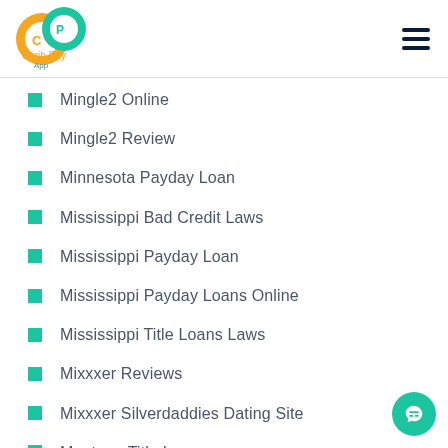Carib Pay App
Mingle2 Online
Mingle2 Review
Minnesota Payday Loan
Mississippi Bad Credit Laws
Mississippi Payday Loan
Mississippi Payday Loans Online
Mississippi Title Loans Laws
Mixxxer Reviews
Mixxxer Silverdaddies Dating Site
Montana Title Loans
Muddy Matches Dating